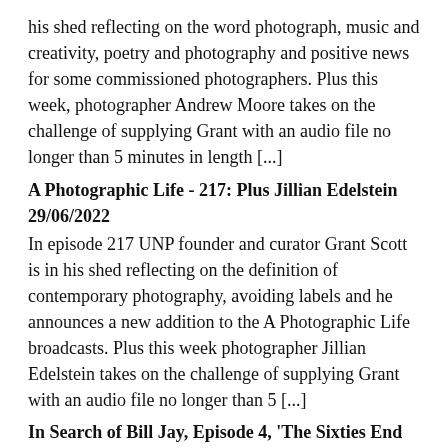his shed reflecting on the word photograph, music and creativity, poetry and photography and positive news for some commissioned photographers. Plus this week, photographer Andrew Moore takes on the challenge of supplying Grant with an audio file no longer than 5 minutes in length [...]
A Photographic Life - 217: Plus Jillian Edelstein 29/06/2022
In episode 217 UNP founder and curator Grant Scott is in his shed reflecting on the definition of contemporary photography, avoiding labels and he announces a new addition to the A Photographic Life broadcasts. Plus this week photographer Jillian Edelstein takes on the challenge of supplying Grant with an audio file no longer than 5 [...]
In Search of Bill Jay, Episode 4, 'The Sixties End and The Future is Bright' 23/06/2022
In episode 4 of this new podcast series Grant Scott continues his search for Bill Jay and reflects on the